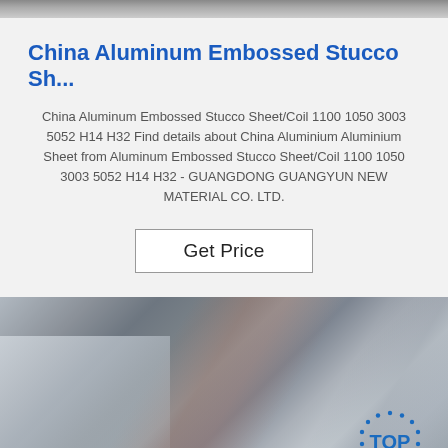China Aluminum Embossed Stucco Sh...
China Aluminum Embossed Stucco Sheet/Coil 1100 1050 3003 5052 H14 H32 Find details about China Aluminium Aluminium Sheet from Aluminum Embossed Stucco Sheet/Coil 1100 1050 3003 5052 H14 H32 - GUANGDONG GUANGYUN NEW MATERIAL CO. LTD.
Get Price
[Figure (photo): Close-up photo of aluminum embossed stucco sheet/coil surface with metallic sheen and slight color variation; a blue dotted circle 'TOP' logo watermark in bottom right corner]